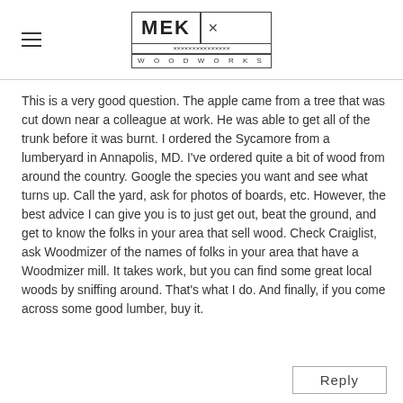MEK WOODWORKS logo with hamburger menu
This is a very good question. The apple came from a tree that was cut down near a colleague at work. He was able to get all of the trunk before it was burnt. I ordered the Sycamore from a lumberyard in Annapolis, MD. I've ordered quite a bit of wood from around the country. Google the species you want and see what turns up. Call the yard, ask for photos of boards, etc. However, the best advice I can give you is to just get out, beat the ground, and get to know the folks in your area that sell wood. Check Craiglist, ask Woodmizer of the names of folks in your area that have a Woodmizer mill. It takes work, but you can find some great local woods by sniffing around. That's what I do. And finally, if you come across some good lumber, buy it.
Reply